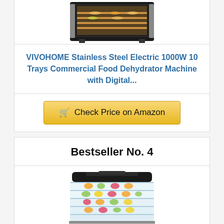[Figure (photo): Top portion of a stainless steel food dehydrator machine with multiple trays visible through glass door, showing food items being dehydrated]
VIVOHOME Stainless Steel Electric 1000W 10 Trays Commercial Food Dehydrator Machine with Digital...
Check Price on Amazon
Bestseller No. 4
[Figure (photo): Food dehydrator with multiple clear transparent trays stacked showing various food items like fruits and vegetables, with stainless steel base and control knobs]